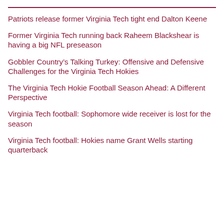Patriots release former Virginia Tech tight end Dalton Keene
Former Virginia Tech running back Raheem Blackshear is having a big NFL preseason
Gobbler Country’s Talking Turkey: Offensive and Defensive Challenges for the Virginia Tech Hokies
The Virginia Tech Hokie Football Season Ahead: A Different Perspective
Virginia Tech football: Sophomore wide receiver is lost for the season
Virginia Tech football: Hokies name Grant Wells starting quarterback